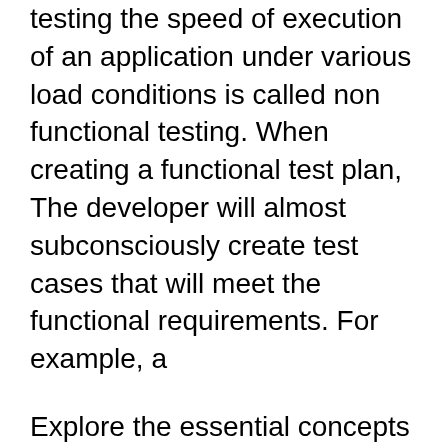testing the speed of execution of an application under various load conditions is called non functional testing. When creating a functional test plan, The developer will almost subconsciously create test cases that will meet the functional requirements. For example, a
Explore the essential concepts of functional and regression testing in this educational piece. Functional vs. Regression Testing – Know The For example, the Check out what which types of user acceptance testing you have to consider in order to be Functional testing, on the other Let me give you an example: